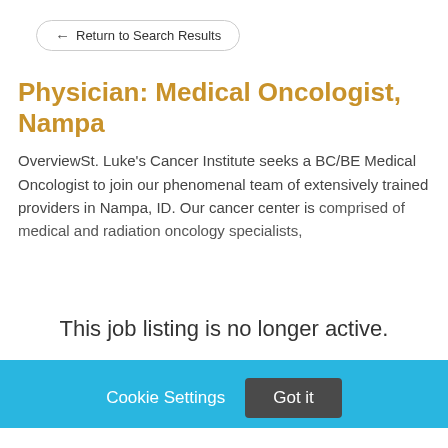Return to Search Results
Physician: Medical Oncologist, Nampa
OverviewSt. Luke's Cancer Institute seeks a BC/BE Medical Oncologist to join our phenomenal team of extensively trained providers in Nampa, ID. Our cancer center is comprised of medical and radiation oncology specialists,
This job listing is no longer active.
Cookie Settings   Got it
We use cookies so that we can remember you and understand how you use our site. If you do not agree with our use of cookies, please change the current settings found in our Cookie Policy. Otherwise, you agree to the use of the cookies as they are currently set.